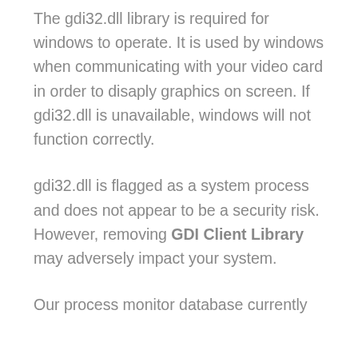The gdi32.dll library is required for windows to operate. It is used by windows when communicating with your video card in order to disaply graphics on screen. If gdi32.dll is unavailable, windows will not function correctly.
gdi32.dll is flagged as a system process and does not appear to be a security risk. However, removing GDI Client Library may adversely impact your system.
Our process monitor database currently